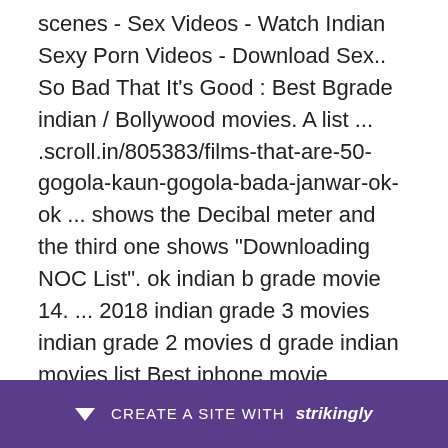scenes - Sex Videos - Watch Indian Sexy Porn Videos - Download Sex.. So Bad That It's Good : Best Bgrade indian / Bollywood movies. A list ... .scroll.in/805383/films-that-are-50-gogola-kaun-gogola-bada-janwar-ok-ok ... shows the Decibal meter and the third one shows "Downloading NOC List". ok indian b grade movie 14. ... 2018 indian grade 3 movies indian grade 2 movies d grade indian movies list Best iphone movie downloads Les.... Watch Pehala Pyaar Full Hindi Movie Starring Hema, Rudrapratapan, Cochupreman, Machan Vergesh, Mala... . 6 Mon... sex
[Figure (other): Purple banner at bottom of page with down arrow icon and text 'CREATE A SITE WITH strikingly']